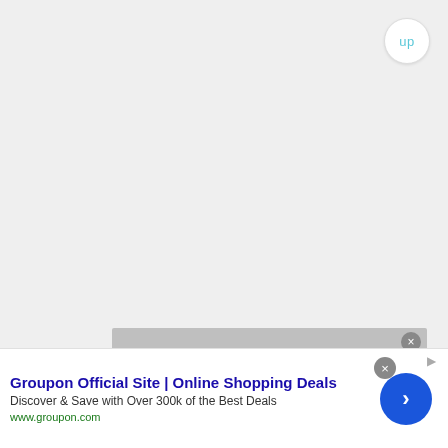[Figure (screenshot): Light gray/white textured background filling most of the page]
up
[Figure (screenshot): Video player overlay with gray background showing 'No compatible source was found for this' message and a close button (×), with blue 'Privacy Policy' link below]
No compatible source was found for this
Privacy Policy
[Figure (screenshot): Advertisement banner at bottom: Groupon Official Site | Online Shopping Deals. Discover & Save with Over 300k of the Best Deals. www.groupon.com. Blue circular arrow button on right. Close (×) button.]